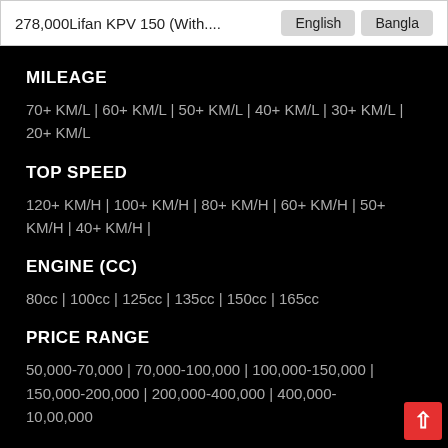278,000Lifan KPV 150 (With....
English | Bangla
MILEAGE
70+ KM/L | 60+ KM/L | 50+ KM/L | 40+ KM/L | 30+ KM/L | 20+ KM/L
TOP SPEED
120+ KM/H | 100+ KM/H | 80+ KM/H | 60+ KM/H | 50+ KM/H | 40+ KM/H |
ENGINE (CC)
80cc | 100cc | 125cc | 135cc | 150cc | 165cc
PRICE RANGE
50,000-70,000 | 70,000-100,000 | 100,000-150,000 | 150,000-200,000 | 200,000-400,000 | 400,000-10,00,000